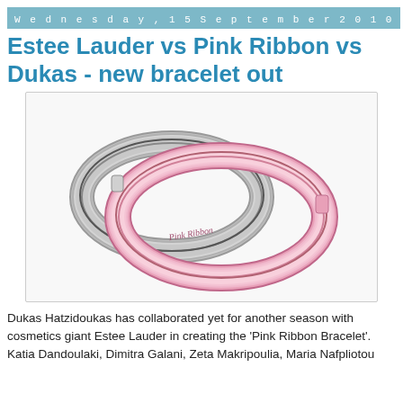Wednesday, 15 September 2010
Estee Lauder vs Pink Ribbon vs Dukas - new bracelet out
[Figure (photo): Two bracelets - one silver/grey and one pink - both engraved with 'Pink Ribbon' script, overlapping each other on a white background.]
Dukas Hatzidoukas has collaborated yet for another season with cosmetics giant Estee Lauder in creating the 'Pink Ribbon Bracelet'. Katia Dandoulaki, Dimitra Galani, Zeta Makripoulia, Maria Nafpliotou